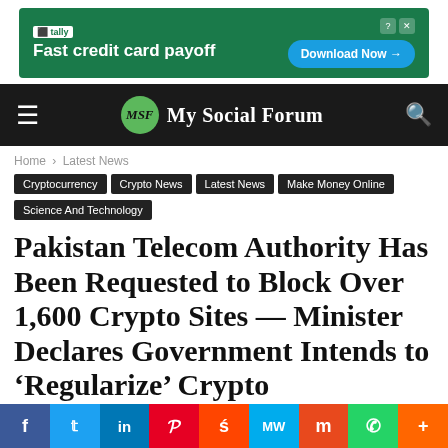[Figure (screenshot): Tally advertisement banner: green background with Tally logo, 'Fast credit card payoff' text, and 'Download Now' button]
My Social Forum
Home › Latest News
Cryptocurrency
Crypto News
Latest News
Make Money Online
Science And Technology
Pakistan Telecom Authority Has Been Requested to Block Over 1,600 Crypto Sites — Minister Declares Government Intends to 'Regularize' Crypto
[Figure (infographic): Social sharing bar with icons for Facebook, Twitter, LinkedIn, Pinterest, Reddit, MeWe, Mix, WhatsApp, and More]